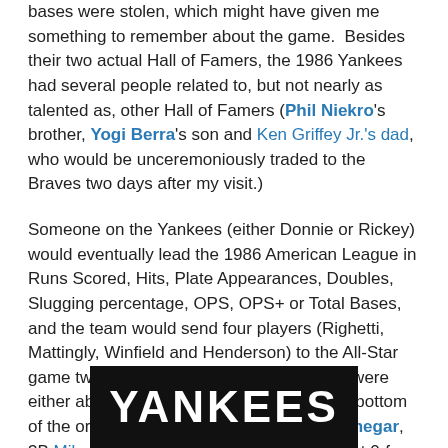bases were stolen, which might have given me something to remember about the game.  Besides their two actual Hall of Famers, the 1986 Yankees had several people related to, but not nearly as talented as, other Hall of Famers (Phil Niekro's brother, Yogi Berra's son and Ken Griffey Jr.'s dad, who would be unceremoniously traded to the Braves two days after my visit.)
Someone on the Yankees (either Donnie or Rickey) would eventually lead the 1986 American League in Runs Scored, Hits, Plate Appearances, Doubles, Slugging percentage, OPS, OPS+ or Total Bases, and the team would send four players (Righetti, Mattingly, Winfield and Henderson) to the All-Star game two weeks later, but in this game, all were either absent or ineffective.  Worse yet, the bottom of the order (DH Mike Easler, C Butch Wynegar, 3B Mike Pagliarulo and SS Dale Berra, went 0-for-14 with a sac fly RBI and one walk.
[Figure (photo): Yankees sign/logo image showing the word YANKEES in large bold white text on dark background]